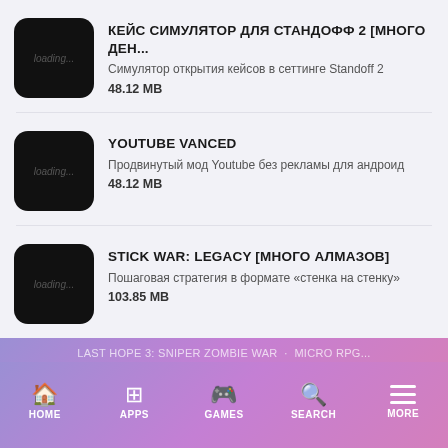КЕЙС СИМУЛЯТОР ДЛЯ СТАНДОФФ 2 [МНОГО ДЕН...
Симулятор открытия кейсов в сеттинге Standoff 2
48.12 MB
YOUTUBE VANCED
Продвинутый мод Youtube без рекламы для андроид
48.12 MB
STICK WAR: LEGACY [МНОГО АЛМАЗОВ]
Пошаговая стратегия в формате «стенка на стенку»
103.85 MB
HUMAN: FALL FLAT
Головоломка с элементами платформера в 3D
1.44 GB
HOME | APPS | GAMES | SEARCH | MORE